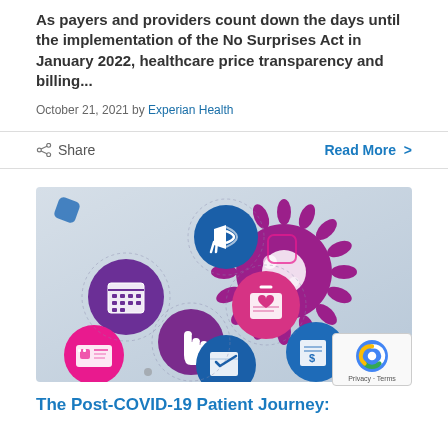As payers and providers count down the days until the implementation of the No Surprises Act in January 2022, healthcare price transparency and billing...
October 21, 2021 by Experian Health
Share
Read More >
[Figure (illustration): Healthcare infographic showing various medical icons (calendar, megaphone, heart clipboard, hand, patient card, document, bill) arranged around a large purple COVID-19 virus illustration on a light blue-grey gradient background]
The Post-COVID-19 Patient Journey: